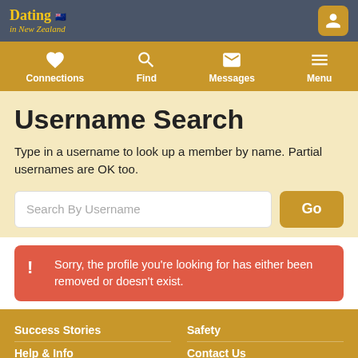Dating in New Zealand
Username Search
Type in a username to look up a member by name. Partial usernames are OK too.
Search By Username | Go
Sorry, the profile you're looking for has either been removed or doesn't exist.
Success Stories | Safety | Help & Info | Contact Us | Privacy Policy | Terms of Use